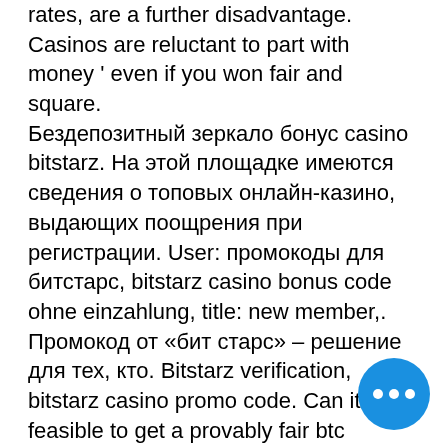rates, are a further disadvantage. Casinos are reluctant to part with money ' even if you won fair and square. Бездепозитный зеркало бонус casino bitstarz. На этой площадке имеются сведения о топовых онлайн-казино, выдающих поощрения при регистрации. User: промокоды для битстарс, bitstarz casino bonus code ohne einzahlung, title: new member,. Промокод от «бит старс» – решение для тех, кто. Bitstarz verification, bitstarz casino promo code. Can it be feasible to get a provably fair btc gambling web page to deceive gamers? казино bitstarz ценит. Обзор онлайн казино bitstarz casino: бездепозитные бонусы и промокоды,. Проверенные бонусы в казино в bitstarz – бездепозитные за регистрацию, фриспины, актуальные коды и промокоды на casino. Тип бонуса: бездепозитные фриспины. Размер бонуса: 20 fs. Требования по вейджеру: x40. Наш...